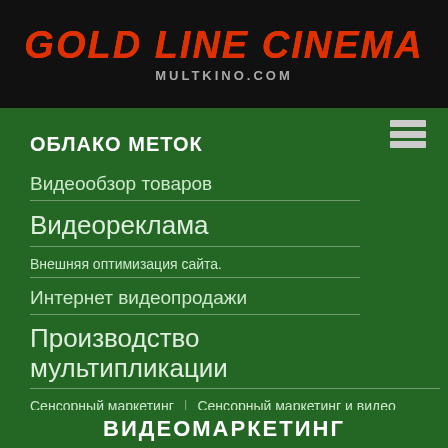GOLD LINE CINEMA
MULTKINO.COM
ОБЛАКО МЕТОК
Видеообзор товаров
Видеореклама
Внешняя оптимизация сайта.
Интернет видеопродажи
Производство мультипликации
Сенсорный маркетинг   Сенсорный маркетинг и видео
бюджетная реклама в сети
видео маркетинг
ВИДЕОМАРКЕТИНГ